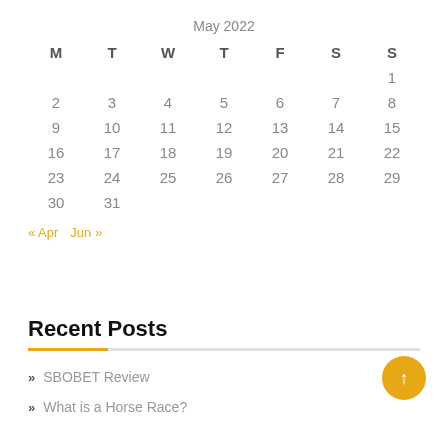May 2022
| M | T | W | T | F | S | S |
| --- | --- | --- | --- | --- | --- | --- |
|  |  |  |  |  |  | 1 |
| 2 | 3 | 4 | 5 | 6 | 7 | 8 |
| 9 | 10 | 11 | 12 | 13 | 14 | 15 |
| 16 | 17 | 18 | 19 | 20 | 21 | 22 |
| 23 | 24 | 25 | 26 | 27 | 28 | 29 |
| 30 | 31 |  |  |  |  |  |
« Apr  Jun »
Recent Posts
SBOBET Review
What is a Horse Race?